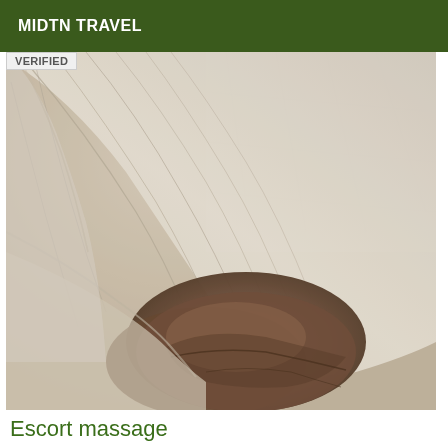MIDTN TRAVEL
verified
[Figure (photo): Close-up sepia-toned photograph of a massage scene showing draped white sheets and a person's body on a massage table with a light tiled floor in background.]
Escort massage